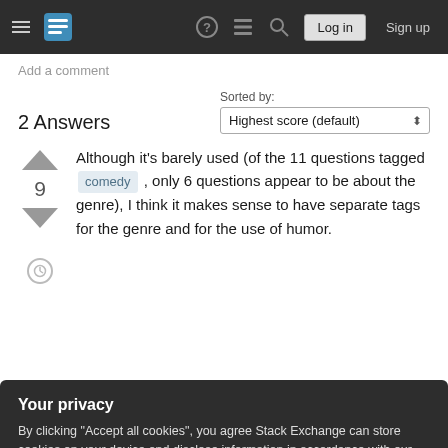Stack Exchange navigation bar with logo, icons, Log in and Sign up buttons
Add a comment
2 Answers
Sorted by: Highest score (default)
Although it's barely used (of the 11 questions tagged comedy , only 6 questions appear to be about the genre), I think it makes sense to have separate tags for the genre and for the use of humor.
Your privacy
By clicking "Accept all cookies", you agree Stack Exchange can store cookies on your device and disclose information in accordance with our Cookie Policy.
Accept all cookies   Customize settings
Add a comment